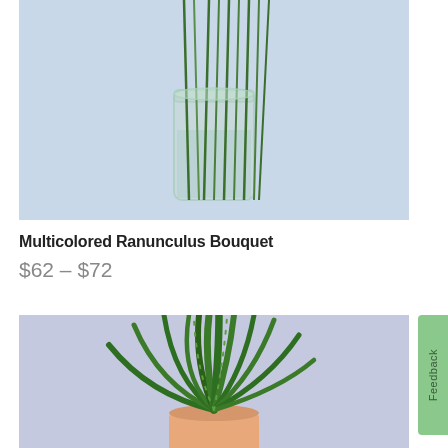[Figure (photo): A glass vase with green flower stems (ranunculus bouquet) against a light blue background, partially cropped at top]
Multicolored Ranunculus Bouquet
$62 – $72
[Figure (photo): An aloe vera plant in a terracotta/peach cylindrical pot against a light periwinkle/lavender background, partially cropped at bottom]